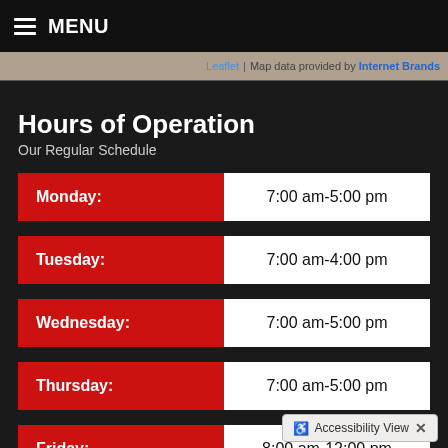≡ MENU
Leaflet | Map data provided by Internet Brands
Hours of Operation
Our Regular Schedule
| Day | Hours |
| --- | --- |
| Monday: | 7:00 am-5:00 pm |
| Tuesday: | 7:00 am-4:00 pm |
| Wednesday: | 7:00 am-5:00 pm |
| Thursday: | 7:00 am-5:00 pm |
| Friday: | 8:00 am-12:00 pm |
| Saturday: | Closed |
Accessibility View ×